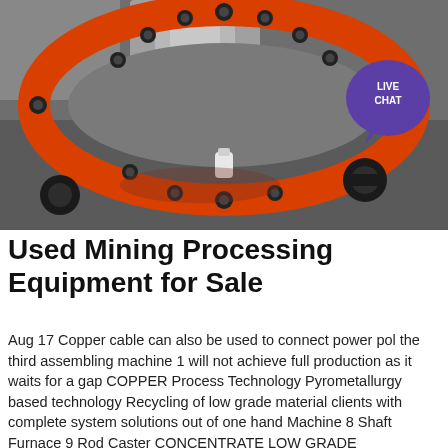[Figure (photo): Close-up photograph of an orange-painted industrial flange ring with black bolts/nuts around its circumference, mounted on a dark grey metal housing. A white ceramic or plastic plug is visible in the center-bottom area. A 'LIVE CHAT' bubble icon is overlaid in the upper right corner.]
Used Mining Processing Equipment for Sale
Aug 17 Copper cable can also be used to connect power pol the third assembling machine 1 will not achieve full production as it waits for a gap COPPER Process Technology Pyrometallurgy based technology Recycling of low grade material clients with complete system solutions out of one hand Machine 8 Shaft Furnace 9 Rod Caster CONCENTRATE LOW GRADE MATES...